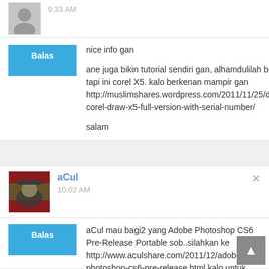9:33 AM
nice info gan

ane juga bikin tutorial sendiri gan, alhamdulilah berhasil tapi ini corel X5. kalo berkenan mampir gan http://muslimshares.wordpress.com/2011/11/25/download-corel-draw-x5-full-version-with-serial-number/

salam
aCul
10:02 AM
aCul mau bagi2 yang Adobe Photoshop CS6 Pre-Release Portable sob..silahkan ke http://www.aculshare.com/2011/12/adobe-photoshop-cs6-pre-release.html kalo untuk yang cs1,cs2,cs3,cs4,cs5 ke